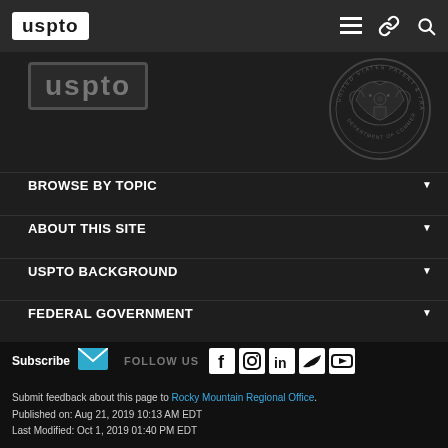[Figure (logo): USPTO logo in white box on dark navigation bar]
[Figure (logo): USPTO large logo on dark background]
[Figure (illustration): United States Patent and Trademark Office seal / Department of Commerce circular emblem]
BROWSE BY TOPIC
ABOUT THIS SITE
USPTO BACKGROUND
FEDERAL GOVERNMENT
Subscribe
FOLLOW US
Submit feedback about this page to Rocky Mountain Regional Office. Published on: Aug 21, 2019 10:13 AM EDT Last Modified: Oct 1, 2019 01:40 PM EDT